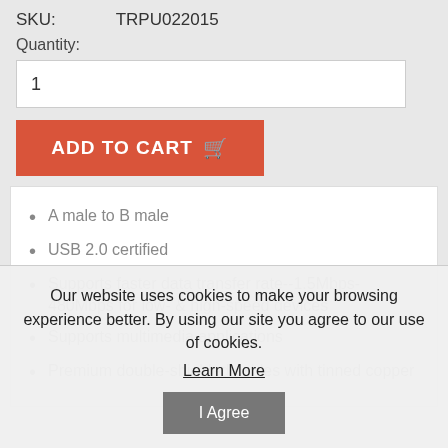SKU:   TRPU022015
Quantity:
1
ADD TO CART
A male to B male
USB 2.0 certified
Supports faster data transfer rate--1.5Mbps-480Mbps for low- & high-speed devices
Supports multimedia applications
Premium double-shielded cables with tinned copper
Our website uses cookies to make your browsing experience better. By using our site you agree to our use of cookies.
Learn More
I Agree